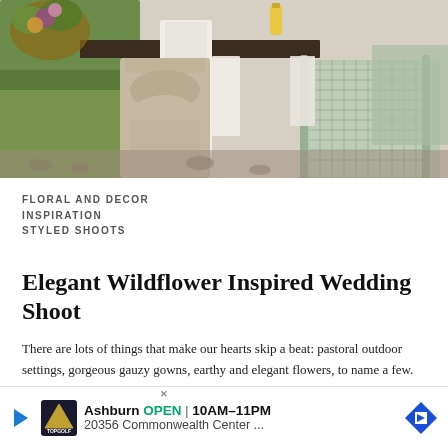[Figure (photo): Outdoor rustic elegant wedding table setting with ornate stone column base, white linen runner, greenery, and vintage mint-green metal lattice chairs on a gravel/pebble surface.]
FLORAL AND DECOR
INSPIRATION
STYLED SHOOTS
Elegant Wildflower Inspired Wedding Shoot
There are lots of things that make our hearts skip a beat: pastoral outdoor settings, gorgeous gauzy gowns, earthy and elegant flowers, to name a few. Well, this rustic but glam... ...e and then som... ...unds of
[Figure (other): Advertisement banner: Ashburn OPEN 10AM-11PM, 20356 Commonwealth Center ..., TopGolf logo, navigation arrow icon.]